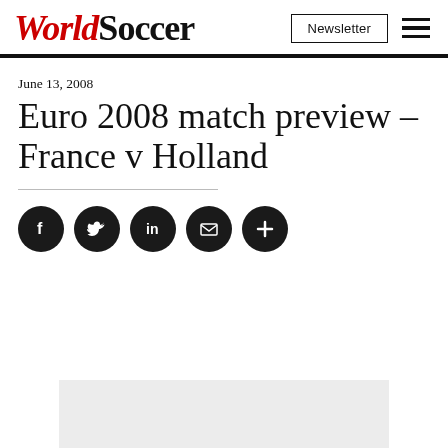WorldSoccer | Newsletter
June 13, 2008
Euro 2008 match preview – France v Holland
[Figure (other): Social share icons: Facebook, Twitter, LinkedIn, Email, More (plus)]
[Figure (other): Advertisement placeholder (light grey rectangle)]